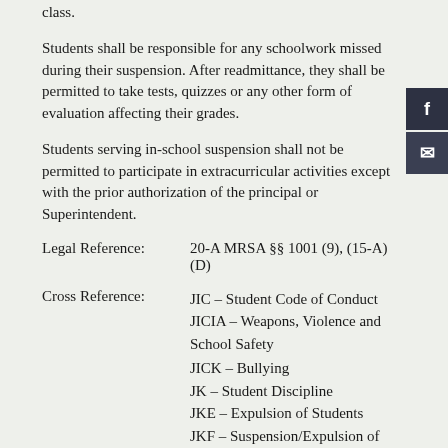class.
Students shall be responsible for any schoolwork missed during their suspension. After readmittance, they shall be permitted to take tests, quizzes or any other form of evaluation affecting their grades.
Students serving in-school suspension shall not be permitted to participate in extracurricular activities except with the prior authorization of the principal or Superintendent.
Legal Reference:        20-A MRSA §§ 1001 (9), (15-A) (D)
Cross Reference:        JIC – Student Code of Conduct
JICIA – Weapons, Violence and School Safety
JICK – Bullying
JK – Student Discipline
JKE – Expulsion of Students
JKF – Suspension/Expulsion of Students with Disabilities